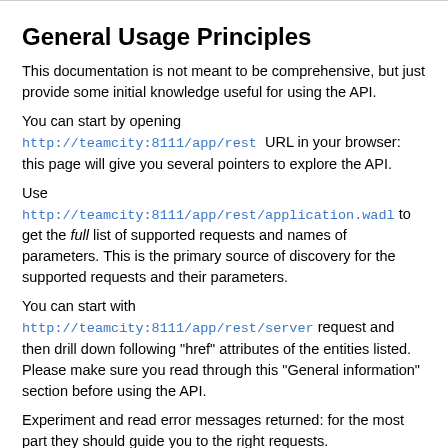General Usage Principles
This documentation is not meant to be comprehensive, but just provide some initial knowledge useful for using the API.
You can start by opening http://teamcity:8111/app/rest URL in your browser: this page will give you several pointers to explore the API.
Use http://teamcity:8111/app/rest/application.wadl to get the full list of supported requests and names of parameters. This is the primary source of discovery for the supported requests and their parameters.
You can start with http://teamcity:8111/app/rest/server request and then drill down following "href" attributes of the entities listed. Please make sure you read through this "General information" section before using the API.
Experiment and read error messages returned: for the most part they should guide you to the right requests.